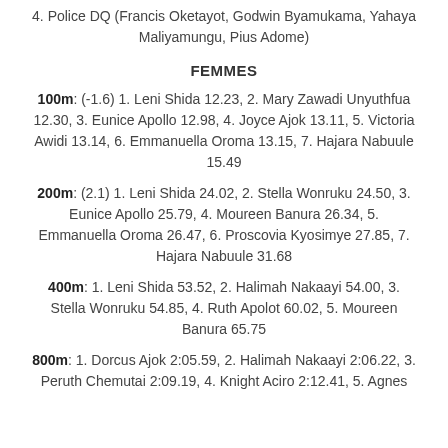4. Police DQ (Francis Oketayot, Godwin Byamukama, Yahaya Maliyamungu, Pius Adome)
FEMMES
100m: (-1.6) 1. Leni Shida 12.23, 2. Mary Zawadi Unyuthfua 12.30, 3. Eunice Apollo 12.98, 4. Joyce Ajok 13.11, 5. Victoria Awidi 13.14, 6. Emmanuella Oroma 13.15, 7. Hajara Nabuule 15.49
200m: (2.1) 1. Leni Shida 24.02, 2. Stella Wonruku 24.50, 3. Eunice Apollo 25.79, 4. Moureen Banura 26.34, 5. Emmanuella Oroma 26.47, 6. Proscovia Kyosimye 27.85, 7. Hajara Nabuule 31.68
400m: 1. Leni Shida 53.52, 2. Halimah Nakaayi 54.00, 3. Stella Wonruku 54.85, 4. Ruth Apolot 60.02, 5. Moureen Banura 65.75
800m: 1. Dorcus Ajok 2:05.59, 2. Halimah Nakaayi 2:06.22, 3. Peruth Chemutai 2:09.19, 4. Knight Aciro 2:12.41, 5. Agnes